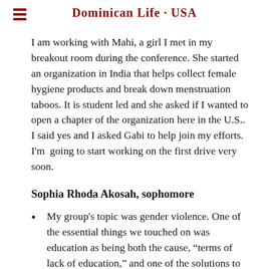Dominican Life · USA
I am working with Mahi, a girl I met in my breakout room during the conference. She started an organization in India that helps collect female hygiene products and break down menstruation taboos. It is student led and she asked if I wanted to open a chapter of the organization here in the U.S.. I said yes and I asked Gabi to help join my efforts. I'm going to start working on the first drive very soon.
Sophia Rhoda Akosah, sophomore
My group's topic was gender violence. One of the essential things we touched on was education as being both the cause, “terms of lack of education,” and one of the solutions to gender-based violence. Education will grant girls the freedom to be dependable on themselves and also know their rights as females. We also amplified our voices as a community for our fellow young girls and